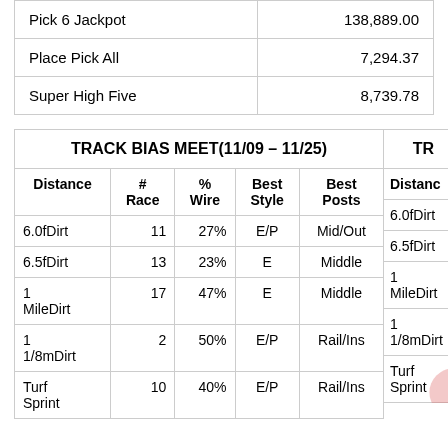|  |  |
| --- | --- |
| Pick 6 Jackpot | 138,889.00 |
| Place Pick All | 7,294.37 |
| Super High Five | 8,739.78 |
| TRACK BIAS MEET(11/09 – 11/25) |  |  |  |  |
| --- | --- | --- | --- | --- |
| Distance | # Race | % Wire | Best Style | Best Posts |
| 6.0fDirt | 11 | 27% | E/P | Mid/Out |
| 6.5fDirt | 13 | 23% | E | Middle |
| 1 MileDirt | 17 | 47% | E | Middle |
| 1 1/8mDirt | 2 | 50% | E/P | Rail/Ins |
| Turf Sprint | 10 | 40% | E/P | Rail/Ins |
| TR... |
| --- |
| Distanc |
| 6.0fDirt |
| 6.5fDirt |
| 1 MileDirt |
| 1 1/8mDirt |
| Turf Sprint |